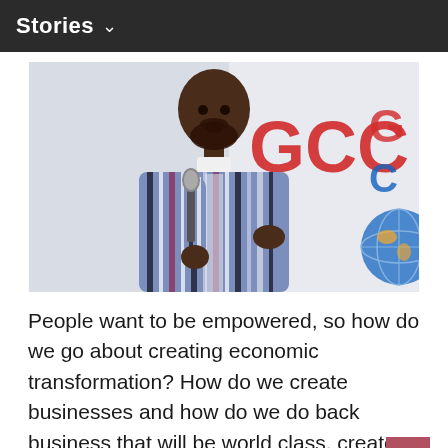Stories ∨
[Figure (photo): A man in a colorful striped traditional African garment (smock) speaking into a microphone at a GCC event, with a banner visible in the background showing 'GCC' in red and blue letters along with a globe graphic.]
People want to be empowered, so how do we go about creating economic transformation? How do we create businesses and how do we do back business that will be world class, create jobs and support the local economy.